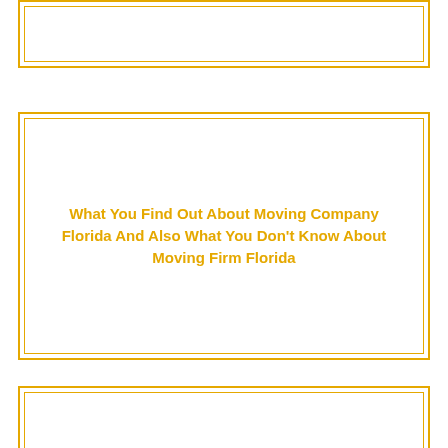[Figure (other): Partial card with gold double border, content not visible (cut off at top of page)]
What You Find Out About Moving Company Florida And Also What You Don't Know About Moving Firm Florida
5 Tips Concerning Supplement Reviews That Has Never Ever Been Actually Disclosed For The Past half a century
About The Author